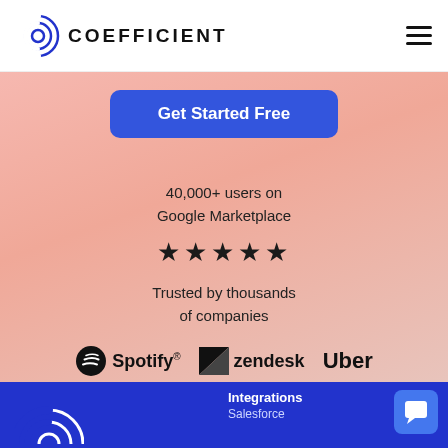COEFFICIENT
Get Started Free
40,000+ users on Google Marketplace
[Figure (illustration): Five black star rating icons]
Trusted by thousands of companies
[Figure (logo): Spotify, Zendesk, and Uber logos displayed in a row]
Integrations
Salesforce